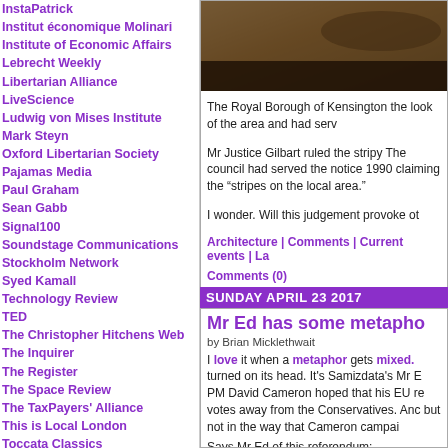InstaPatrick
Institut économique Molinari
Institute of Economic Affairs
Lebrecht Weekly
Libertarian Alliance
LiveScience
Ludwig von Mises Institute
Mark Steyn
Oxford Libertarian Society
Pajamas Media
Paul Graham
Sean Gabb
Signal100
Soundstage Communications
Stockholm Network
Syed Kamall
Technology Review
TED
The Christopher Hitchens Web
The Inquirer
The Register
The Space Review
The TaxPayers' Alliance
This is Local London
Toccata Classics
UK Libertarian Party
Victor Davis Hanson
WSJ.com Opinion Journal
YaleGlobal Online
YouTube
[Figure (photo): Dark brownish photo, likely architectural or outdoor scene]
The Royal Borough of Kensington the look of the area and had serv
Mr Justice Gilbart ruled the stripy The council had served the notice 1990 claiming the "stripes on the local area."
I wonder.  Will this judgement provoke ot
Architecture | Comments | Current events | La
Comments (0)
SUNDAY APRIL 23 2017
Mr Ed has some metapho
by Brian Micklethwait
I love it when a metaphor gets mixed. turned on its head.  It's Samizdata's Mr E PM David Cameron hoped that his EU re votes away from the Conservatives.  Anc but not in the way that Cameron campai
Says Mr Ed of this referendum: